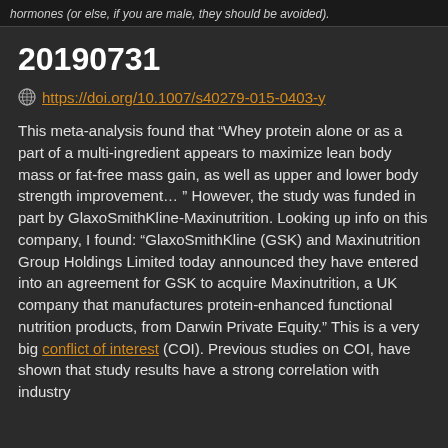hormones (or else, if you are male, they should be avoided).
20190731
https://doi.org/10.1007/s40279-015-0403-y
This meta-analysis found that “Whey protein alone or as a part of a multi-ingredient appears to maximize lean body mass or fat-free mass gain, as well as upper and lower body strength improvement… ” However, the study was funded in part by GlaxoSmithKline-Maxinutrition. Looking up info on this company, I found: “GlaxoSmithKline (GSK) and Maxinutrition Group Holdings Limited today announced they have entered into an agreement for GSK to acquire Maxinutrition, a UK company that manufactures protein-enhanced functional nutrition products, from Darwin Private Equity.” This is a very big conflict of interest (COI). Previous studies on COI, have shown that study results have a strong correlation with industry